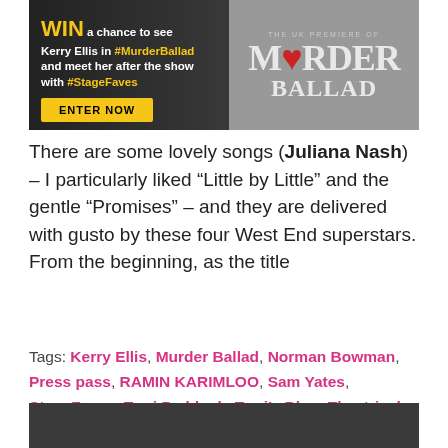[Figure (photo): Promotional banner ad: WIN a chance to see Kerry Ellis in #MurderBallad and meet her after the show with #StageFaves. ENTER NOW button. Right side shows the Murder Ballad show logo with red heart.]
There are some lovely songs (Juliana Nash) – I particularly liked “Little by Little” and the gentle “Promises” – and they are delivered with gusto by these four West End superstars. From the beginning, as the title
Tags: Kerry Ellis, Murder Ballad, Norman Bowman, Press pass, RAMIN KARIMLOO, Sam Yates, StageFaves, Terri Paddock, Terri's Blog, Theatrical, Victoria Hamilton-Barritt
[Figure (photo): Dark grey/charcoal background image at bottom of page, partially visible.]